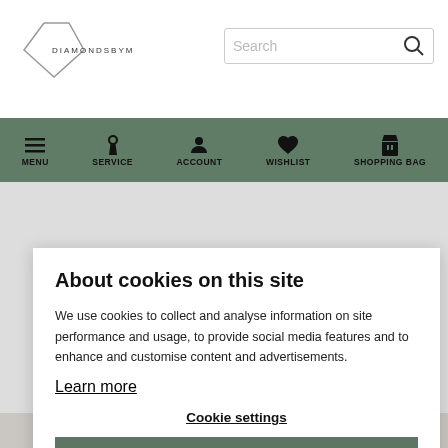DIAMONDSBYME
[Figure (screenshot): DiamondsByMe logo with diamond shape outline and text DIAMONDSBYME]
[Figure (screenshot): Search input box with Search placeholder text and search icon]
[Figure (screenshot): Navigation bar with MENU, SERVICE, ACCOUNT, WISHLIST, SHOPPING BAG icons on dark green background]
About cookies on this site
We use cookies to collect and analyse information on site performance and usage, to provide social media features and to enhance and customise content and advertisements.
Learn more
Cookie settings
Allow all cookies